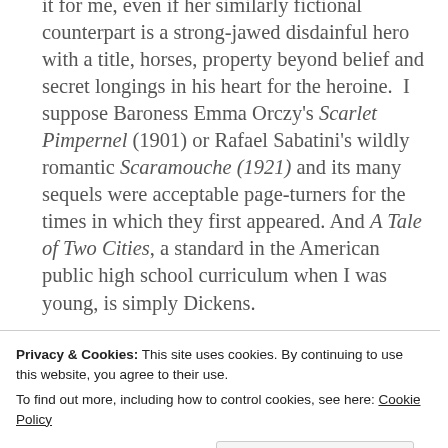it for me, even if her similarly fictional counterpart is a strong-jawed disdainful hero with a title, horses, property beyond belief and secret longings in his heart for the heroine.  I suppose Baroness Emma Orczy's Scarlet Pimpernel (1901) or Rafael Sabatini's wildly romantic Scaramouche (1921) and its many sequels were acceptable page-turners for the times in which they first appeared. And A Tale of Two Cities, a standard in the American public high school curriculum when I was young, is simply Dickens.
Privacy & Cookies: This site uses cookies. By continuing to use this website, you agree to their use.
To find out more, including how to control cookies, see here: Cookie Policy